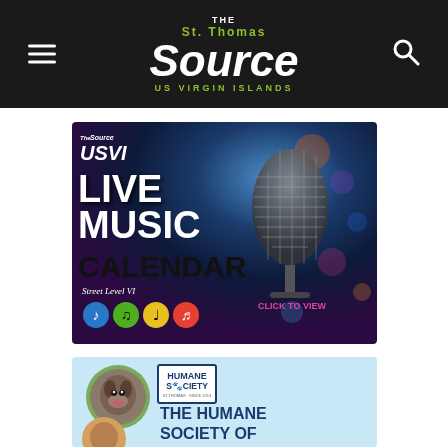The St. Thomas Source — US Virgin Islands
[Figure (illustration): USVI Live Music Calendar advertisement banner with microphone photo background, Street Level VI branding, dance icons, and 'CLICK TO VIEW' CTA in pink text]
[Figure (illustration): Humane Society of St. Thomas advertisement banner with dog photo circles, Humane Society logo box, and 'THE HUMANE SOCIETY OF' text on light blue background]